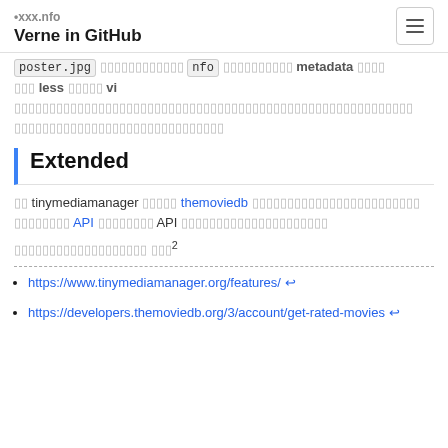Verne in GitHub
poster.jpg  [squares]  nfo  [squares]  metadata  [squares]
[squares] less [squares] vi [squares][long Thai text]
[Thai text]
Extended
[Thai] tinymediamanager [Thai] themoviedb [Thai]
[Thai] API [Thai] API [Thai]
[Thai text] [Thai]²
https://www.tinymediamanager.org/features/ ↩
https://developers.themoviedb.org/3/account/get-rated-movies ↩